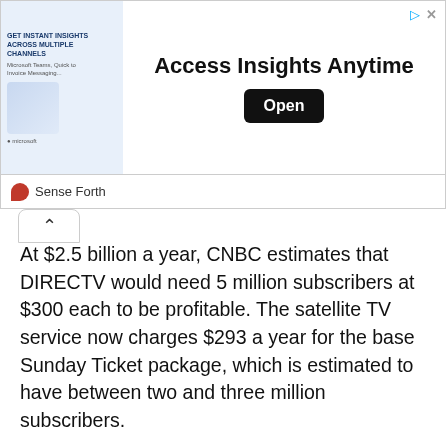[Figure (other): Advertisement banner: image of woman with phone on left, 'Access Insights Anytime' headline in center, black 'Open' button on right. 'GET INSTANT INSIGHTS ACROSS MULTIPLE CHANNELS' text in ad image. Sense Forth branding below.]
Sense Forth
At $2.5 billion a year, CNBC estimates that DIRECTV would need 5 million subscribers at $300 each to be profitable. The satellite TV service now charges $293 a year for the base Sunday Ticket package, which is estimated to have between two and three million subscribers.
The Wall Street Journal and other publications have reported that DIRECTV agreed to pay roughly $1,5 billion a year when it signed an eight-year contract for the Sunday Ticket in 2014.